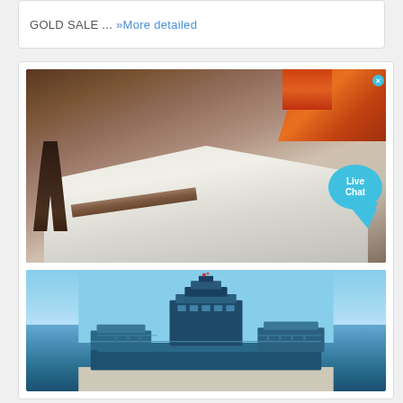GOLD SALE ... »More detailed
[Figure (photo): Mining excavation site with a worker in dark clothing standing near an open pit, an orange excavator/machinery in the background top-right, and a white tarp/sheeting over the excavation area. A wooden board is visible in the foreground. A 'Live Chat' speech bubble overlay appears in the lower-right area of the photo.]
[Figure (photo): Large blue industrial mining machine or dredge equipment photographed against a clear blue sky. The machine appears to be a multi-level floating or ground-based ore processing/mining platform.]